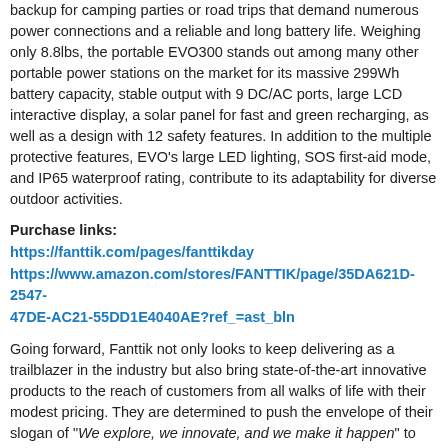backup for camping parties or road trips that demand numerous power connections and a reliable and long battery life. Weighing only 8.8lbs, the portable EVO300 stands out among many other portable power stations on the market for its massive 299Wh battery capacity, stable output with 9 DC/AC ports, large LCD interactive display, a solar panel for fast and green recharging, as well as a design with 12 safety features. In addition to the multiple protective features, EVO's large LED lighting, SOS first-aid mode, and IP65 waterproof rating, contribute to its adaptability for diverse outdoor activities.
Purchase links: https://fanttik.com/pages/fanttikday https://www.amazon.com/stores/FANTTIK/page/35DA621D-2547-47DE-AC21-55DD1E4040AE?ref_=ast_bln
Going forward, Fanttik not only looks to keep delivering as a trailblazer in the industry but also bring state-of-the-art innovative products to the reach of customers from all walks of life with their modest pricing. They are determined to push the envelope of their slogan of "We explore, we innovate, and we make it happen" to even higher magnitudes in the coming years.